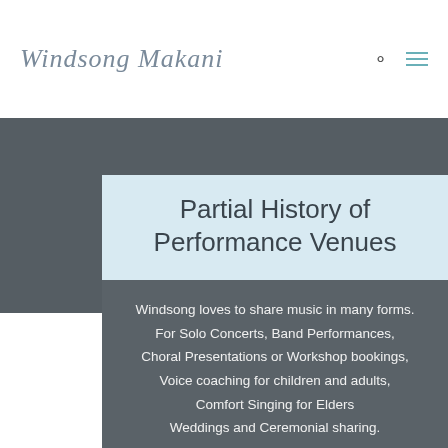Windsong Makani
Partial History of Performance Venues
Windsong loves to share music in many forms. For Solo Concerts, Band Performances, Choral Presentations or Workshop bookings, Voice coaching for children and adults, Comfort Singing for Elders Weddings and Ceremonial sharing.
Contact
Windsongmekani@gmail.com